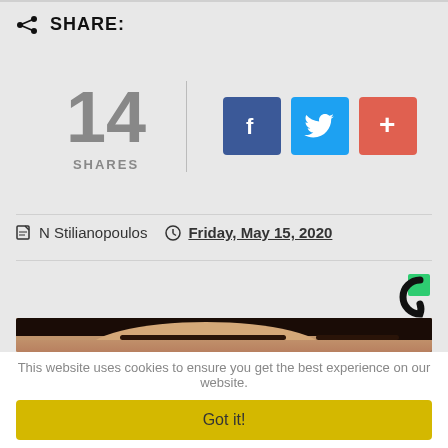SHARE:
[Figure (infographic): Share count widget showing 14 SHARES with Facebook, Twitter, and a plus button for adding/sharing]
N Stilianopoulos  Friday, May 15, 2020
[Figure (logo): Coral/Spot.IM comment widget logo in top right corner]
[Figure (photo): Partial photo of a woman with dark hair and dark eyebrows, face cropped showing forehead and eyes area]
This website uses cookies to ensure you get the best experience on our website.
Got it!